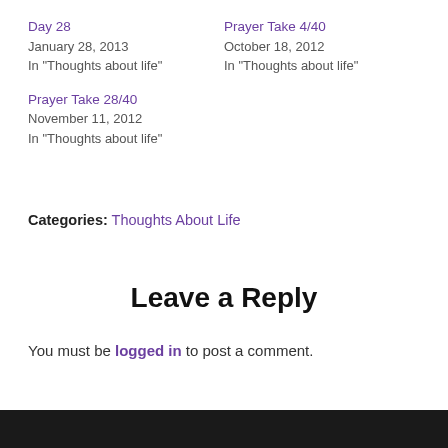Day 28
January 28, 2013
In "Thoughts about life"
Prayer Take 4/40
October 18, 2012
In "Thoughts about life"
Prayer Take 28/40
November 11, 2012
In "Thoughts about life"
Categories: Thoughts About Life
Leave a Reply
You must be logged in to post a comment.